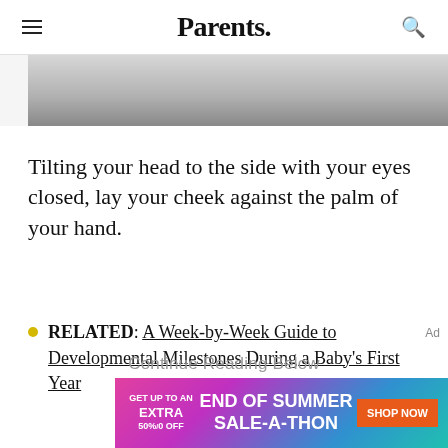Parents.
[Figure (photo): Partial cropped photo showing a dark-clothed figure against a light background, top portion only visible]
Tilting your head to the side with your eyes closed, lay your cheek against the palm of your hand.
RELATED: A Week-by-Week Guide to Developmental Milestones During a Baby's First Year
Continue Reading Below
Ad
[Figure (screenshot): Advertisement banner: GET UP TO AN EXTRA 50% OFF END OF SUMMER SALE-A-THON SHOP NOW]